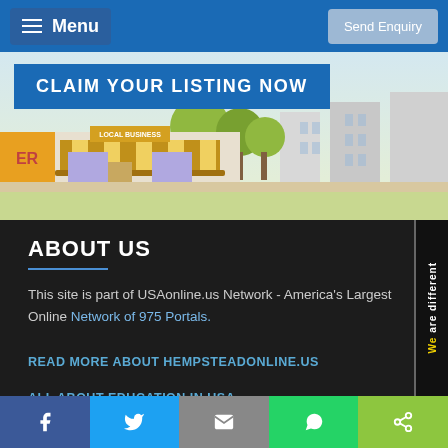Menu | Send Enquiry
CLAIM YOUR LISTING NOW
[Figure (illustration): Local business storefront cartoon illustration with yellow striped awning and purple windows, set against a painted city/suburban background with trees]
ABOUT US
This site is part of USAonline.us Network - America's Largest Online Network of 975 Portals.
READ MORE ABOUT HEMPSTEADONLINE.US
ALL ABOUT EDUCATION IN USA
[Figure (other): Vertical side banner with text 'We are different' in white and yellow on dark background]
Social share buttons: Facebook, Twitter, Email, WhatsApp, Share